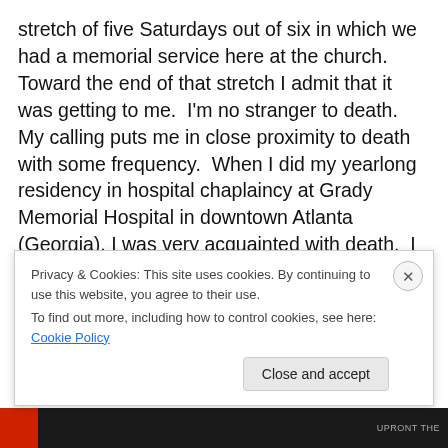stretch of five Saturdays out of six in which we had a memorial service here at the church.  Toward the end of that stretch I admit that it was getting to me.  I'm no stranger to death.  My calling puts me in close proximity to death with some frequency.  When I did my yearlong residency in hospital chaplaincy at Grady Memorial Hospital in downtown Atlanta (Georgia). I was very acquainted with death.  I recall one weekend shift: that was 72 hours without ever leaving the hospital, in which I worked through 11 deaths in a row without sleeping.  Each death walking with a family through tragedy and grief and
Privacy & Cookies: This site uses cookies. By continuing to use this website, you agree to their use.
To find out more, including how to control cookies, see here: Cookie Policy
Close and accept
UPRONT THE